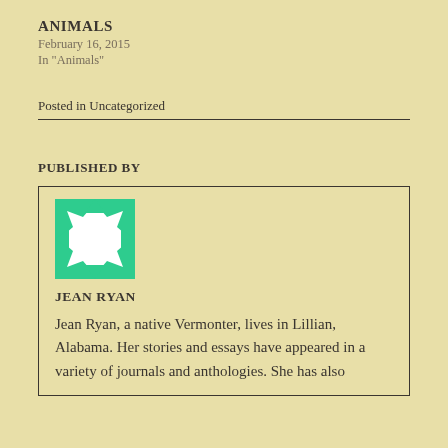ANIMALS
February 16, 2015
In "Animals"
Posted in Uncategorized
PUBLISHED BY
[Figure (illustration): Green and white quilt-pattern avatar image for Jean Ryan]
JEAN RYAN
Jean Ryan, a native Vermonter, lives in Lillian, Alabama. Her stories and essays have appeared in a variety of journals and anthologies. She has also